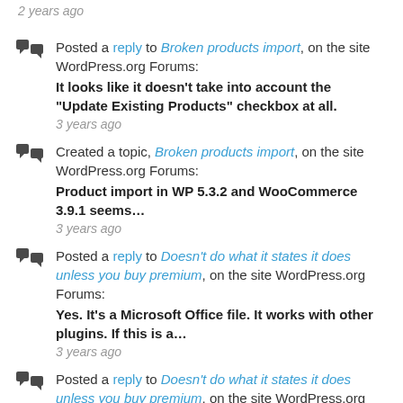2 years ago
Posted a reply to Broken products import, on the site WordPress.org Forums: It looks like it doesn't take into account the "Update Existing Products" checkbox at all. 3 years ago
Created a topic, Broken products import, on the site WordPress.org Forums: Product import in WP 5.3.2 and WooCommerce 3.9.1 seems… 3 years ago
Posted a reply to Doesn't do what it states it does unless you buy premium, on the site WordPress.org Forums: Yes. It's a Microsoft Office file. It works with other plugins. If this is a… 3 years ago
Posted a reply to Doesn't do what it states it does unless you buy premium, on the site WordPress.org Forums: It doesn't even accept Excel.